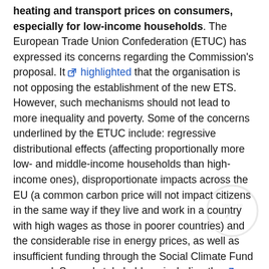heating and transport prices on consumers, especially for low-income households. The European Trade Union Confederation (ETUC) has expressed its concerns regarding the Commission's proposal. It highlighted that the organisation is not opposing the establishment of the new ETS. However, such mechanisms should not lead to more inequality and poverty. Some of the concerns underlined by the ETUC include: regressive distributional effects (affecting proportionally more low- and middle-income households than high-income ones), disproportionate impacts across the EU (a common carbon price will not impact citizens in the same way if they live and work in a country with high wages as those in poorer countries) and the considerable rise in energy prices, as well as insufficient funding through the Social Climate Fund proposal. Several stakeholders, including the European Climate Foundation, Friends of the Earth Europe and Carbon Market Watch, have echoed the above-